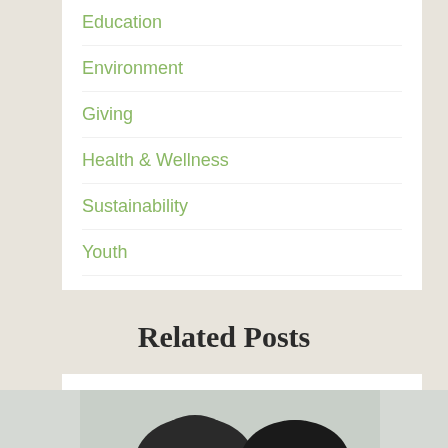Education
Environment
Giving
Health & Wellness
Sustainability
Youth
Youth Leadership
YAC Storytelling
Related Posts
[Figure (photo): Partial view of two people's heads/faces from above, visible at bottom of page]